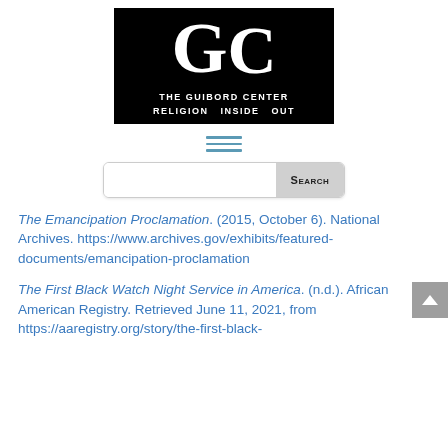[Figure (logo): The Guibord Center logo: black background with large white serif letters G and C, text below reads 'THE GUIBORD CENTER RELIGION INSIDE OUT']
[Figure (other): Hamburger menu icon — three horizontal teal/blue lines]
[Figure (other): Search bar with white input field and grey Search button]
The Emancipation Proclamation. (2015, October 6). National Archives. https://www.archives.gov/exhibits/featured-documents/emancipation-proclamation
The First Black Watch Night Service in America. (n.d.). African American Registry. Retrieved June 11, 2021, from https://aaregistry.org/story/the-first-black-